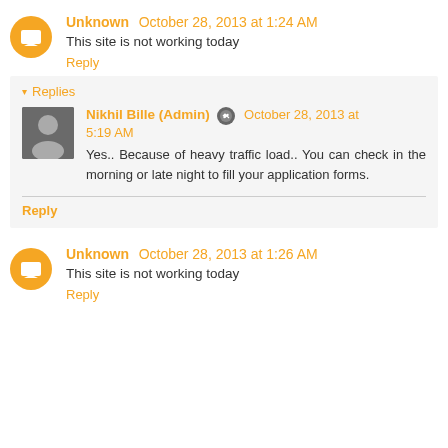Unknown October 28, 2013 at 1:24 AM
This site is not working today
Reply
Replies
Nikhil Bille (Admin) October 28, 2013 at 5:19 AM
Yes.. Because of heavy traffic load.. You can check in the morning or late night to fill your application forms.
Reply
Unknown October 28, 2013 at 1:26 AM
This site is not working today
Reply